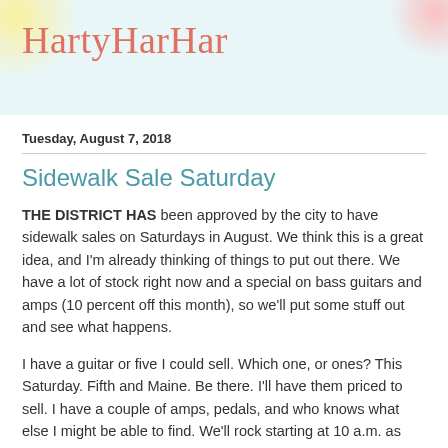HartyHarHar
Tuesday, August 7, 2018
Sidewalk Sale Saturday
THE DISTRICT HAS been approved by the city to have sidewalk sales on Saturdays in August. We think this is a great idea, and I'm already thinking of things to put out there. We have a lot of stock right now and a special on bass guitars and amps (10 percent off this month), so we'll put some stuff out and see what happens.
I have a guitar or five I could sell. Which one, or ones? This Saturday. Fifth and Maine. Be there. I'll have them priced to sell. I have a couple of amps, pedals, and who knows what else I might be able to find. We'll rock starting at 10 a.m. as long as there's shade and the weather is decent.